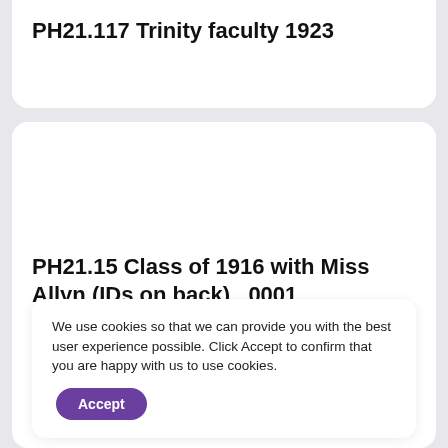PH21.117 Trinity faculty 1923
[Figure (photo): Blank white card area representing a photograph placeholder for PH21.15 Class of 1916 with Miss Allyn]
PH21.15 Class of 1916 with Miss Allyn (IDs on back) _0001
We use cookies so that we can provide you with the best user experience possible. Click Accept to confirm that you are happy with us to use cookies.